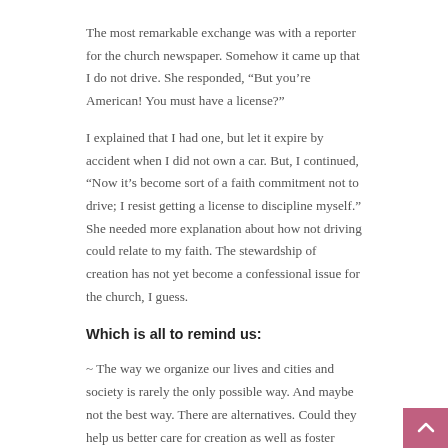The most remarkable exchange was with a reporter for the church newspaper. Somehow it came up that I do not drive. She responded, “But you’re American! You must have a license?”
I explained that I had one, but let it expire by accident when I did not own a car. But, I continued, “Now it’s become sort of a faith commitment not to drive; I resist getting a license to discipline myself.” She needed more explanation about how not driving could relate to my faith. The stewardship of creation has not yet become a confessional issue for the church, I guess.
Which is all to remind us:
~ The way we organize our lives and cities and society is rarely the only possible way. And maybe not the best way. There are alternatives. Could they help us better care for creation as well as foster justice and peace?